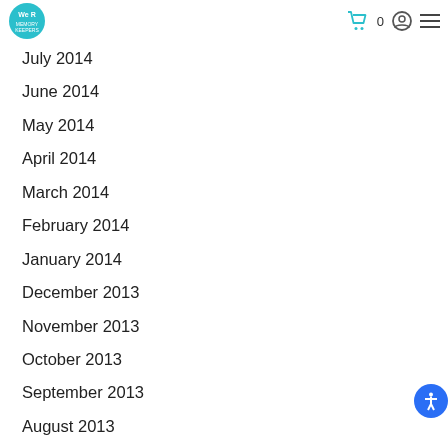We R Memory Keepers — navigation header with logo, cart (0), user icon, and menu
July 2014
June 2014
May 2014
April 2014
March 2014
February 2014
January 2014
December 2013
November 2013
October 2013
September 2013
August 2013
July 2013